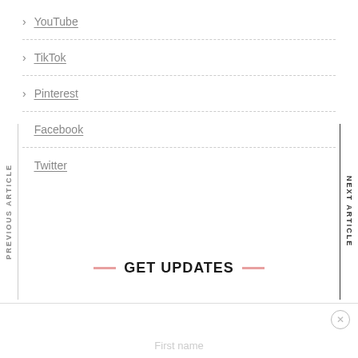> YouTube
> TikTok
> Pinterest
> Facebook
> Twitter
GET UPDATES
PREVIOUS ARTICLE
NEXT ARTICLE
First name